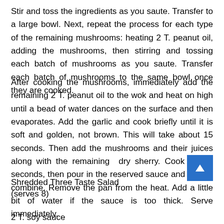Stir and toss the ingredients as you saute. Transfer to a large bowl. Next, repeat the process for each type of the remaining mushrooms: heating 2 T. peanut oil, adding the mushrooms, then stirring and tossing each batch of mushrooms as you saute. Transfer each batch of mushrooms to the same bowl once they are cooked.
After cooking the mushrooms, immediately add the remaining 2 T. peanut oil to the wok and heat on high until a bead of water dances on the surface and then evaporates. Add the garlic and cook briefly until it is soft and golden, not brown. This will take about 15 seconds. Then add the mushrooms and their juices along with the remaining  dry sherry. Cook for 20 seconds, then pour in the reserved sauce and toss to combine. Remove the pan from the heat. Add a little bit of water if the sauce is too thick. Serve immediately.
Shredded Three Taste Salad
(serves 8)
2 T. soy sauce